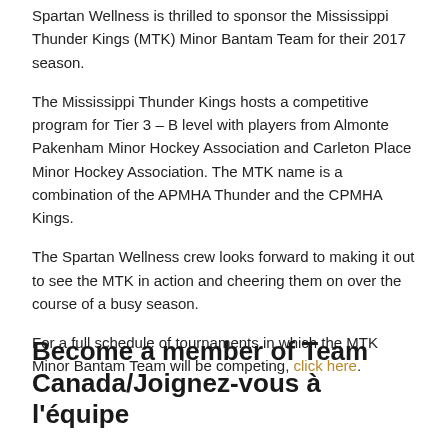Spartan Wellness is thrilled to sponsor the Mississippi Thunder Kings (MTK) Minor Bantam Team for their 2017 season.
The Mississippi Thunder Kings hosts a competitive program for Tier 3 – B level with players from Almonte Pakenham Minor Hockey Association and Carleton Place Minor Hockey Association. The MTK name is a combination of the APMHA Thunder and the CPMHA Kings.
The Spartan Wellness crew looks forward to making it out to see the MTK in action and cheering them on over the course of a busy season.
For a full schedule of tournaments in which the MTK Minor Bantam Team will be competing, click here.
Become a member of Team Canada/Joignez-vous à l'équipe